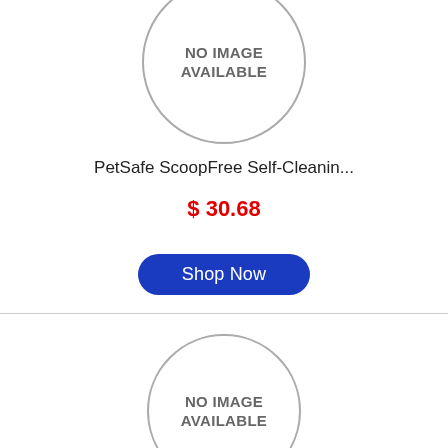[Figure (illustration): Circle placeholder with text 'NO IMAGE AVAILABLE' for first product (partially visible at top)]
PetSafe ScoopFree Self-Cleanin...
$ 30.68
Shop Now
[Figure (illustration): Circle placeholder with text 'NO IMAGE AVAILABLE' for second product]
Petmate Open Cat Litter Box Ma...